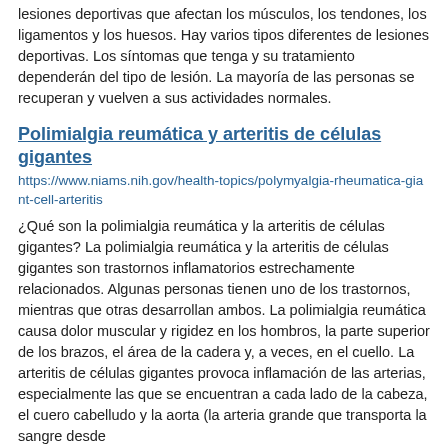lesiones deportivas que afectan los músculos, los tendones, los ligamentos y los huesos. Hay varios tipos diferentes de lesiones deportivas. Los síntomas que tenga y su tratamiento dependerán del tipo de lesión. La mayoría de las personas se recuperan y vuelven a sus actividades normales.
Polimialgia reumática y arteritis de células gigantes
https://www.niams.nih.gov/health-topics/polymyalgia-rheumatica-giant-cell-arteritis
¿Qué son la polimialgia reumática y la arteritis de células gigantes? La polimialgia reumática y la arteritis de células gigantes son trastornos inflamatorios estrechamente relacionados. Algunas personas tienen uno de los trastornos, mientras que otras desarrollan ambos. La polimialgia reumática causa dolor muscular y rigidez en los hombros, la parte superior de los brazos, el área de la cadera y, a veces, en el cuello. La arteritis de células gigantes provoca inflamación de las arterias, especialmente las que se encuentran a cada lado de la cabeza, el cuero cabelludo y la aorta (la arteria grande que transporta la sangre desde
Osteonecrosis
https://www.niams.nih.gov/health-topics/osteonecrosis